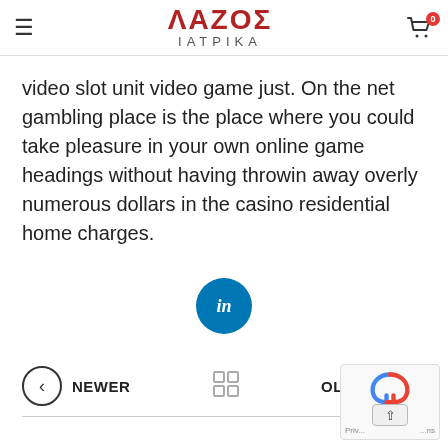ΛΑΖΟΣ ΙΑΤΡΙΚΑ
video slot unit video game just. On the net gambling place is the place where you could take pleasure in your own online game headings without having throwin away overly numerous dollars in the casino residential home charges.
[Figure (logo): LinkedIn share button - circular blue icon with white 'in' text]
[Figure (infographic): Navigation row with NEWER (left arrow circle), grid icon (center), OLDER (right arrow circle)]
[Figure (other): reCAPTCHA widget with logo and up arrow button, showing 'Priv...' and '...ns' text]